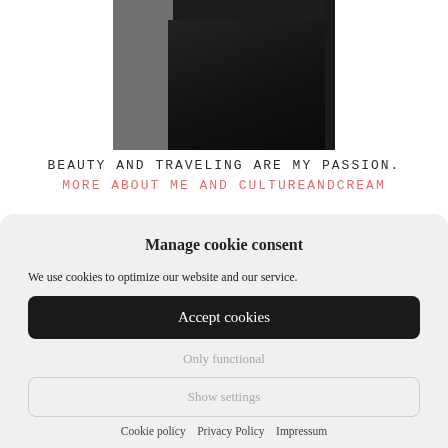[Figure (photo): Partial photo of a person wearing a black top, cropped to show upper torso area against a light background]
BEAUTY AND TRAVELING ARE MY PASSION.
MORE ABOUT ME AND CULTUREANDCREAM
Manage cookie consent
We use cookies to optimize our website and our service.
Accept cookies
Only functional
Show settings
Cookie policy   Privacy Policy   Impressum